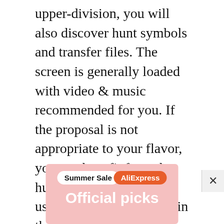upper-division, you will also discover hunt symbols and transfer files. The screen is generally loaded with video & music recommended for you. If the proposal is not appropriate to your flavor, you can benefit from the hunting aspect. You can use the identical element in the argument the video you intend to download is not accessible in the recommended segment.

Of course, in the marketplace, you will discover many categories of video downloader apps. Though, it is recognized to be the safest app
[Figure (other): AliExpress advertisement banner with 'Summer Sale' pill badge, 'AliExpress' orange label, and 'Official picks' text on a pink/salmon background. A close button (×) appears to the right.]